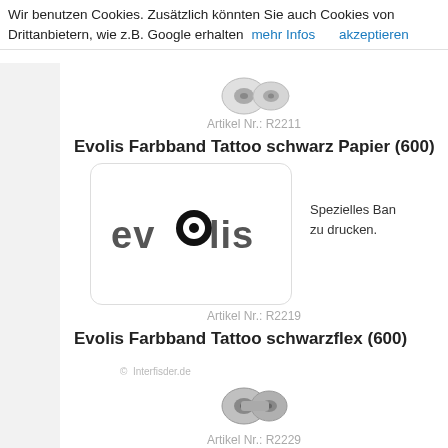Wir benutzen Cookies. Zusätzlich könnten Sie auch Cookies von Drittanbietern, wie z.B. Google erhalten  mehr Infos    akzeptieren
[Figure (photo): Partial view of a ribbon/ink cartridge product at the top]
Artikel Nr.: R2211
Evolis Farbband Tattoo schwarz Papier (600)
[Figure (logo): Evolis logo inside a rounded rectangle box]
Spezielles Ban zu drucken.
Artikel Nr.: R2219
Evolis Farbband Tattoo schwarzflex (600)
[Figure (photo): Photo of a ribbon/ink cartridge product with copyright watermark '© Interfisder.de']
Artikel Nr.: R2229